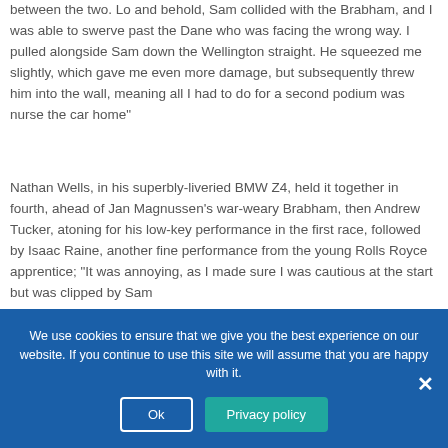between the two. Lo and behold, Sam collided with the Brabham, and I was able to swerve past the Dane who was facing the wrong way. I pulled alongside Sam down the Wellington straight. He squeezed me slightly, which gave me even more damage, but subsequently threw him into the wall, meaning all I had to do for a second podium was nurse the car home"
Nathan Wells, in his superbly-liveried BMW Z4, held it together in fourth, ahead of Jan Magnussen's war-weary Brabham, then Andrew Tucker, atoning for his low-key performance in the first race, followed by Isaac Raine, another fine performance from the young Rolls Royce apprentice; "It was annoying, as I made sure I was cautious at the start but was clipped by Sam
We use cookies to ensure that we give you the best experience on our website. If you continue to use this site we will assume that you are happy with it.